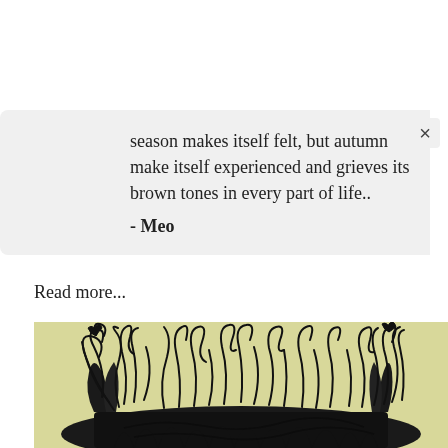season makes itself felt, but autumn make itself experienced and grieves its brown tones in every part of life..
- Meo
Read more...
[Figure (illustration): A dark pen/ink illustration on a yellowish-green background showing an abstract creature or plant form with curling tendrils, vines, and swirling organic shapes at the top, with a dense mass of dark jagged forms at the bottom resembling teeth or feathers.]